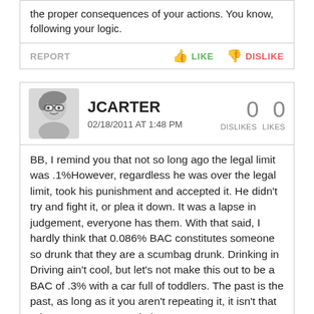the proper consequences of your actions. You know, following your logic.
REPORT   LIKE   DISLIKE
JCARTER
02/18/2011 AT 1:48 PM
0 DISLIKES  0 LIKES
BB, I remind you that not so long ago the legal limit was .1%However, regardless he was over the legal limit, took his punishment and accepted it. He didn't try and fight it, or plea it down. It was a lapse in judgement, everyone has them. With that said, I hardly think that 0.086% BAC constitutes someone so drunk that they are a scumbag drunk. Drinking in Driving ain't cool, but let's not make this out to be a BAC of .3% with a car full of toddlers. The past is the past, as long as it you aren't repeating it, it isn't that relevant. I'm sure Bernie has gotten a
[Figure (advertisement): Season Passes starting at $299 ski resort advertisement with skier on snowy slope]